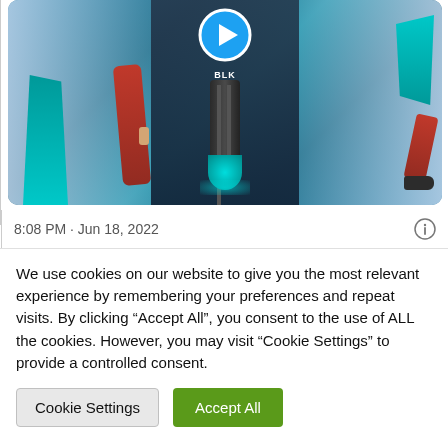[Figure (screenshot): A social media post thumbnail showing a sports/athletic themed image. Center panel features a dark bottle with teal glowing bottom and 'BLK' branding, with a circular blue play button above it. Left panel shows partial athlete in red/blue jersey. Right panel shows teal angular shape and partial athlete. Background is a teal/blue gradient.]
8:08 PM · Jun 18, 2022
We use cookies on our website to give you the most relevant experience by remembering your preferences and repeat visits. By clicking “Accept All”, you consent to the use of ALL the cookies. However, you may visit "Cookie Settings" to provide a controlled consent.
Cookie Settings
Accept All